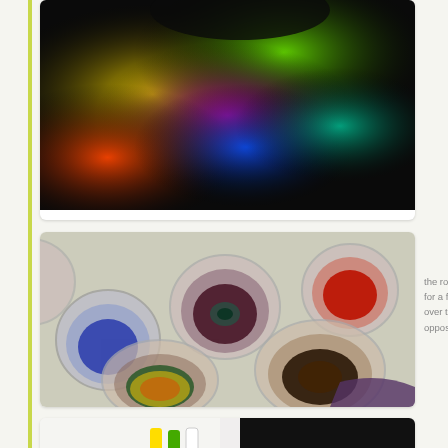[Figure (photo): Colorful tie-dye ink swirls on dark background with vivid yellow, green, blue, red and pink colors]
[Figure (photo): Multiple glass mason jars containing rolled fabric pieces soaking in dye, showing various colors including red, dark maroon, blue, green, and multicolor tie-dye rolls]
the rolls the
for a few m
over to take
opposite di
[Figure (photo): Person working at a table with dye bottles and fabric for tie-dye activity]